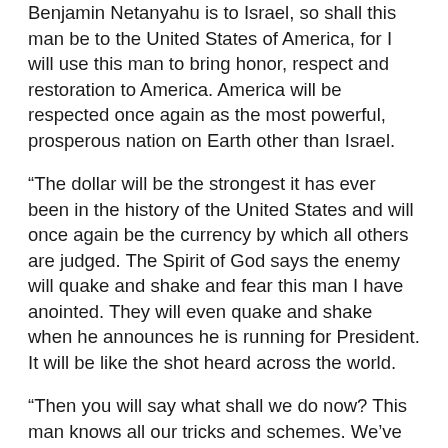Benjamin Netanyahu is to Israel, so shall this man be to the United States of America, for I will use this man to bring honor, respect and restoration to America. America will be respected once again as the most powerful, prosperous nation on Earth other than Israel.
“The dollar will be the strongest it has ever been in the history of the United States and will once again be the currency by which all others are judged. The Spirit of God says the enemy will quake and shake and fear this man I have anointed. They will even quake and shake when he announces he is running for President. It will be like the shot heard across the world.
“Then you will say what shall we do now? This man knows all our tricks and schemes. We’ve been robbing America for decades. What should we do to stop this? The Spirit says, ha, no one